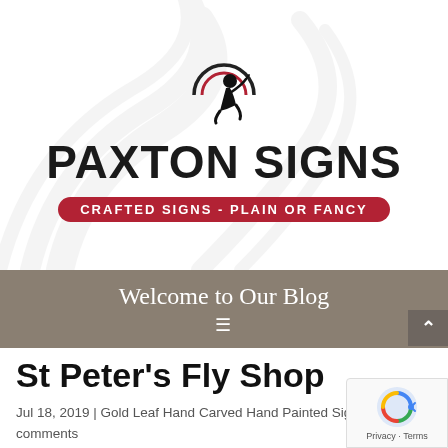[Figure (logo): Paxton Signs logo with a kneeling sign painter silhouette, decorative swirl arcs, bold text PAXTON SIGNS, and a red pill-shaped tagline reading CRAFTED SIGNS - PLAIN OR FANCY]
Welcome to Our Blog
St Peter's Fly Shop
Jul 18, 2019 | Gold Leaf Hand Carved Hand Painted Sign
comments